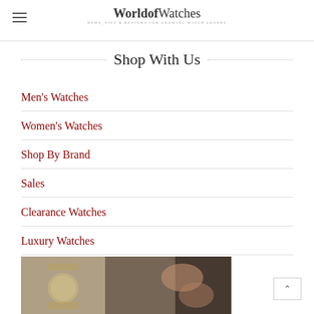WorldofWatches
Shop With Us
Men's Watches
Women's Watches
Shop By Brand
Sales
Clearance Watches
Luxury Watches
[Figure (photo): Close-up photo of watches being worked on, dark toned background]